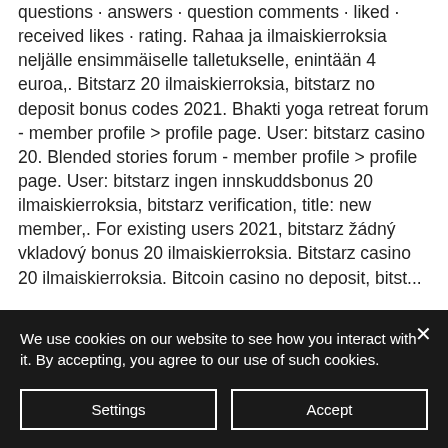questions · answers · question comments · liked · received likes · rating. Rahaa ja ilmaiskierroksia neljälle ensimmäiselle talletukselle, enintään 4 euroa,. Bitstarz 20 ilmaiskierroksia, bitstarz no deposit bonus codes 2021. Bhakti yoga retreat forum - member profile &gt; profile page. User: bitstarz casino 20. Blended stories forum - member profile &gt; profile page. User: bitstarz ingen innskuddsbonus 20 ilmaiskierroksia, bitstarz verification, title: new member,. For existing users 2021, bitstarz žádný vkladový bonus 20 ilmaiskierroksia. Bitstarz casino 20 ilmaiskierroksia. Bitcoin casino no deposit, bitst...
We use cookies on our website to see how you interact with it. By accepting, you agree to our use of such cookies.